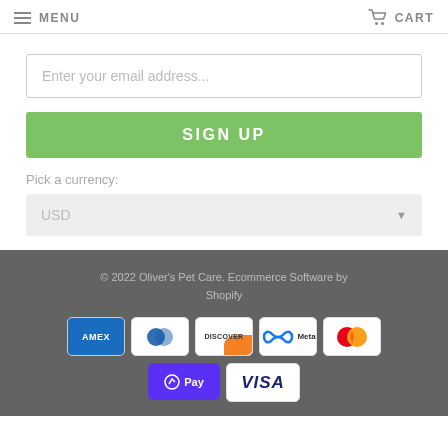MENU   CART
Enter your email address...
SIGN UP
Pick a currency:
USD
© 2022 Oliver's Pet Care. Ecommerce Software by Shopify
[Figure (other): Payment method logos: AMEX, Diners Club, Discover, Meta, Mastercard, Pay, Visa]